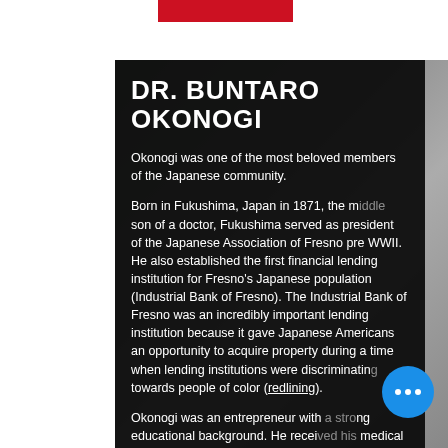DR. BUNTARO OKONOGI
Okonogi was one of the most beloved members of the Japanese community.
Born in Fukushima, Japan in 1871, the middle son of a doctor, Fukushima served as president of the Japanese Association of Fresno pre WWII. He also established the first financial lending institution for Fresno's Japanese population (Industrial Bank of Fresno). The Industrial Bank of Fresno was an incredibly important lending institution because it gave Japanese Americans an opportunity to acquire property during a time when lending institutions were discriminating towards people of color (redlining).
Okonogi was an entrepreneur with a strong educational background. He received his medical degree, in Tokyo, New York and Stanford University Medical School. After